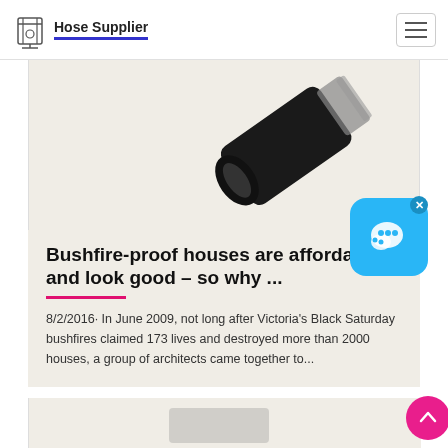Hose Supplier
[Figure (photo): Partial product image showing a black hose fitting/connector on a beige background]
Bushfire-proof houses are affordable and look good – so why ...
8/2/2016· In June 2009, not long after Victoria's Black Saturday bushfires claimed 173 lives and destroyed more than 2000 houses, a group of architects came together to...
[Figure (photo): Partial product image at the bottom of the page, partially cut off]